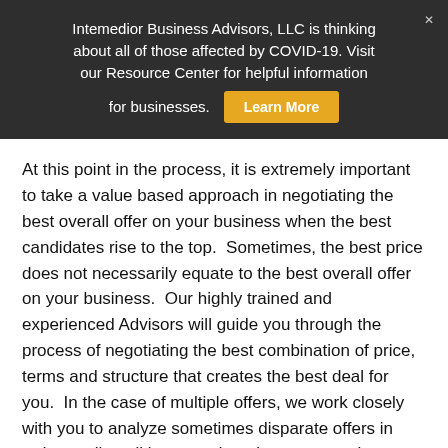Intemedior Business Advisors, LLC is thinking about all of those affected by COVID-19. Visit our Resource Center for helpful information for businesses. Learn More
At this point in the process, it is extremely important to take a value based approach in negotiating the best overall offer on your business when the best candidates rise to the top.  Sometimes, the best price does not necessarily equate to the best overall offer on your business.  Our highly trained and experienced Advisors will guide you through the process of negotiating the best combination of price, terms and structure that creates the best deal for you.  In the case of multiple offers, we work closely with you to analyze sometimes disparate offers in order to align all interested parties so an apples-to-apples decision can be made with whom to move forward with negotiations.